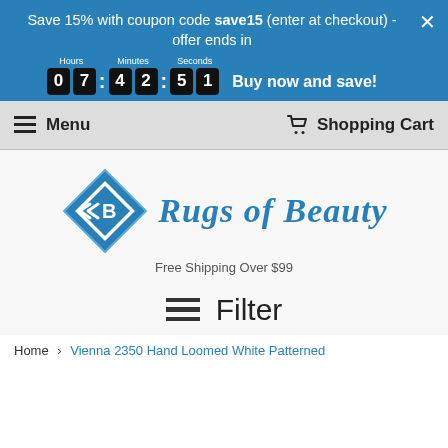Save 15% with coupon code save15 (enter at checkout) - offer ends in
[Figure (screenshot): Countdown timer showing 07:42:51 with digit boxes for hours, minutes, seconds]
Buy now and save!
Menu | Shopping Cart
[Figure (logo): Rugs of Beauty logo with blue diamond shape containing RB initials and cursive text]
Free Shipping Over $99
Filter
Home > Vienna 2350 Hand Loomed White Patterned